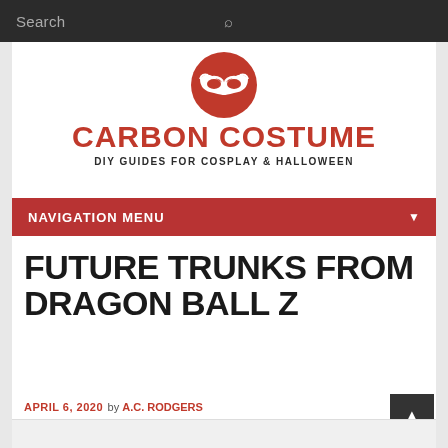Search
[Figure (logo): Carbon Costume website logo - red circle with white masquerade mask icon, red bold text CARBON COSTUME, subtitle DIY GUIDES FOR COSPLAY & HALLOWEEN]
NAVIGATION MENU
FUTURE TRUNKS FROM DRAGON BALL Z
APRIL 6, 2020 by A.C. RODGERS
Tags: anime, dragon ball z, eric vale, sean chiplock, takeshi ku...